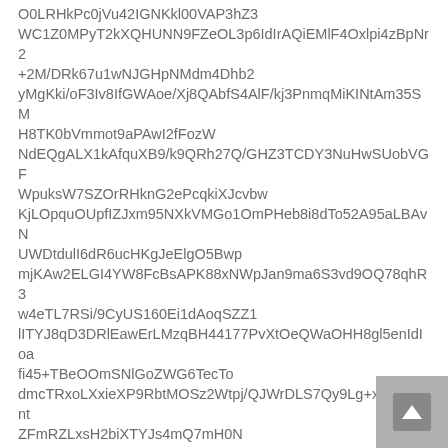O0LRHkPc0jVu42IGNKkl00VAP3hZ3 WC1Z0MPyT2kXQHUNN9FZeOL3p6IdIrAQiEMlF4Oxlpi4zBpNr2 +2M/DRk67u1wNJGHpNMdm4Dhb2 yMgKki/oF3Iv8IfGWAoe/Xj8QAbfS4AlF/kj3PnmqMiKINtAm35SM H8TK0bVmmot9aPAwI2fFozW NdEQgALX1kAfquXB9/k9QRh27Q/GHZ3TCDY3NuHwSUobVGF WpuksW7SZOrRHknG2ePcqkiXJcvbw KjLOpquOUpfIZJxm95NXkVMGo1OmPHeb8i8dTo52A95aLBAvN UWDtdulI6dR6ucHKgJeElgO5Bwp mjKAw2ELGI4YW8FcBsAPK88xNWpJan9ma6S3vd9OQ78qhR3 w4eTL7RSi/9CyUS160Ei1dAoqSZZ1 lITYJ8qD3DRlEawErLMzqBH44177PvXtOeQWaOHH8gl5enIdIoa fi45+TBeOOmSNlGoZWG6TecTo dmcTRxoLXxieXP9RbtMOSz2Wtpj/QJWrDLS7Qy9Lg+xM7zbIbnt ZFmRZLxsH2biXTYJs4mQ7mH0N i/gZhiEcnbyWjMkDwe97/BtR2wSzQ4os2z0N9JKtoFvcZrDPyQu8 AgRTC/9kFMUcvcAdxaknbKfN 0FE29kLXYU5ZXXrAyKlwhhfGnuJf5eLej4oCHYsjL/tn4aZNnF2D q0PBC2KlDthvHkvG/mmxG2Dx